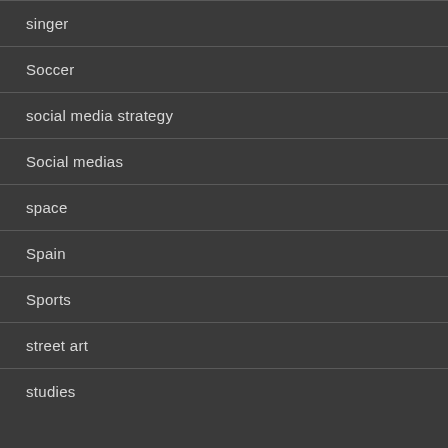singer
Soccer
social media strategy
Social medias
space
Spain
Sports
street art
studies